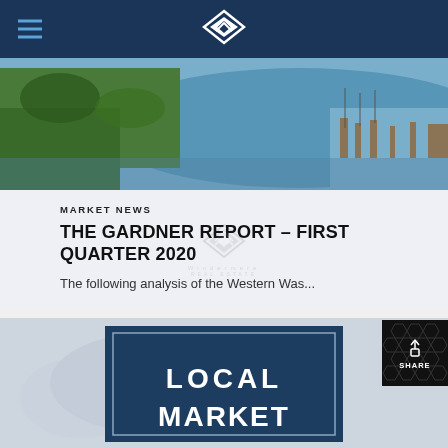Windermere Real Estate – navigation header with logo
[Figure (photo): Aerial photo of a marina and waterway with forested shoreline and boats, used as article card image]
MARKET NEWS
THE GARDNER REPORT – FIRST QUARTER 2020
The following analysis of the Western Was...
[Figure (photo): Second article card showing a blue rectangle with white text reading LOCAL MARKET on a light background]
[Figure (other): Share button overlay with upload/share icon and SHARE label on dark background with honeycomb pattern]